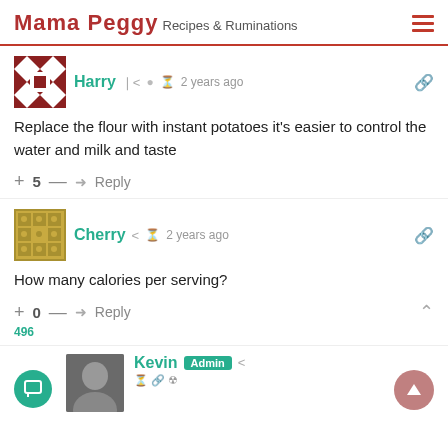Mama Peggy Recipes & Ruminations
Harry  2 years ago
Replace the flour with instant potatoes it's easier to control the water and milk and taste
+5 — Reply
Cherry  2 years ago
How many calories per serving?
+0 — Reply
496
Kevin  Admin  2 years ago